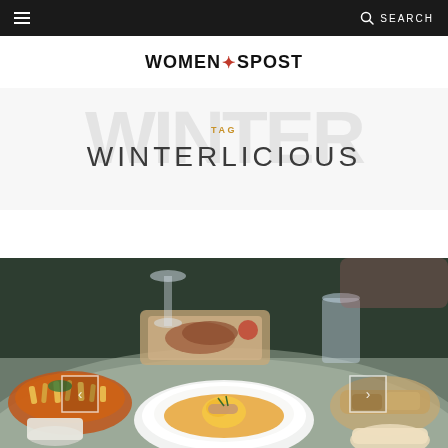≡   SEARCH
WOMEN'SPOST
TAG
WINTERLICIOUS
[Figure (photo): Restaurant table with a bowl of soup with poached egg and garnish in center, fries on orange plate to the left, bread to the right, wine glass and water glass in background. Navigation arrows on left and right sides.]